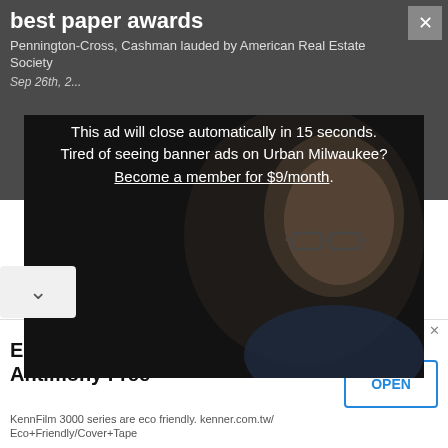best paper awards
Pennington-Cross, Cashman lauded by American Real Estate Society
Sep 26th, 2...
This ad will close automatically in 15 seconds.
Tired of seeing banner ads on Urban Milwaukee?
Become a member for $9/month.
[Figure (photo): Dark photo of a person wearing glasses, partially lit from the right side, wearing a blue shirt, against a dark background]
Eco Friendly Cover Tape - Antimony Free
KennFilm 3000 series are eco friendly. kenner.com.tw/Eco+Friendly/Cover+Tape